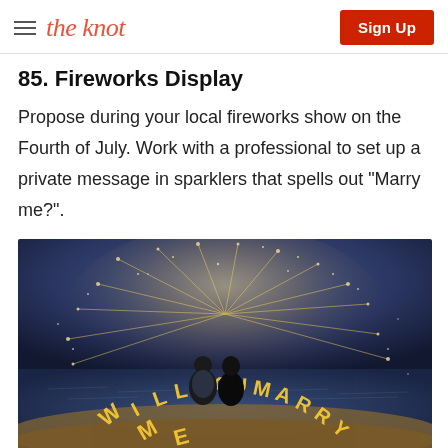the knot | Sign Up
85. Fireworks Display
Propose during your local fireworks show on the Fourth of July. Work with a professional to set up a private message in sparklers that spells out "Marry me?".
[Figure (photo): A couple standing on a beach at night viewing a sparkler display spelling out 'WILL YOU MARRY ME' arranged in an arc, with fireworks sparkling in the background over the water.]